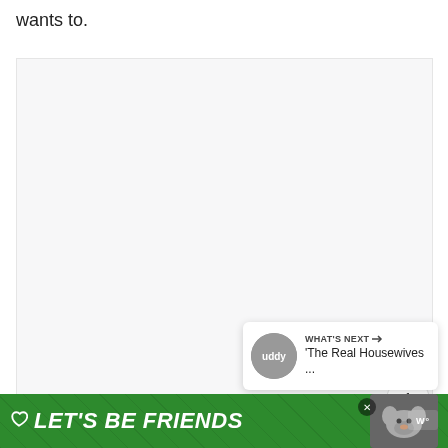wants to.
[Figure (other): Large light gray empty content box area]
[Figure (other): Blue circular heart/like button with white heart icon, count badge showing 1, and share button below]
[Figure (other): What's Next card showing thumbnail and text 'The Real Housewives ...']
[Figure (other): Green advertisement banner at bottom reading LET'S BE FRIENDS with dog image and close button]